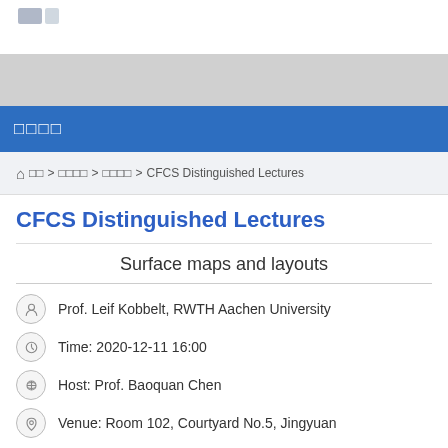□□□□
□□□□
⌂ □□ > □□□□ > □□□□ > CFCS Distinguished Lectures
CFCS Distinguished Lectures
Surface maps and layouts
Prof. Leif Kobbelt, RWTH Aachen University
Time: 2020-12-11 16:00
Host: Prof. Baoquan Chen
Venue: Room 102, Courtyard No.5, Jingyuan